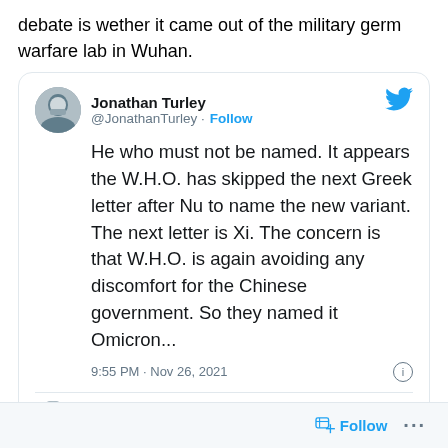debate is wether it came out of the military germ warfare lab in Wuhan.
[Figure (screenshot): Embedded tweet from Jonathan Turley (@JonathanTurley) with Follow button and Twitter bird logo. Tweet text: 'He who must not be named. It appears the W.H.O. has skipped the next Greek letter after Nu to name the new variant. The next letter is Xi. The concern is that W.H.O. is again avoiding any discomfort for the Chinese government. So they named it Omicron...' Posted 9:55 PM · Nov 26, 2021. Footer shows a smaller avatar and 'Read the full conversation on Twitter' link.]
Follow ...